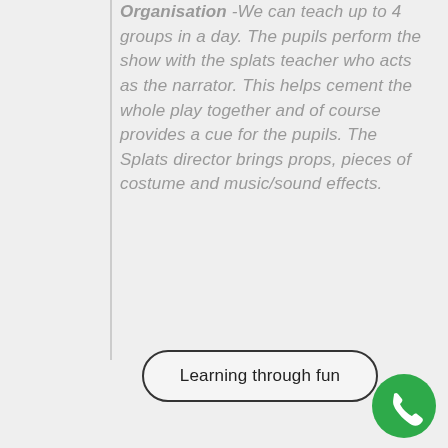Organisation -We can teach up to 4 groups in a day. The pupils perform the show with the splats teacher who acts as the narrator. This helps cement the whole play together and of course provides a cue for the pupils. The Splats director brings props, pieces of costume and music/sound effects.
Learning through fun
[Figure (illustration): Green circular phone/call icon button in bottom right corner]